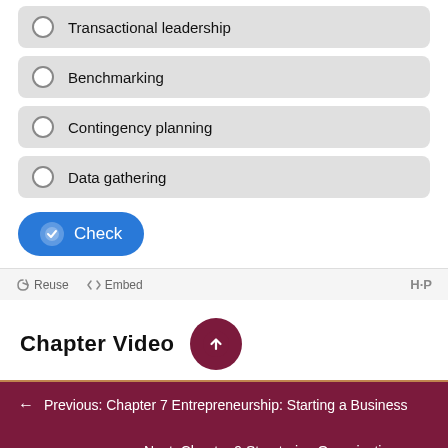Transactional leadership
Benchmarking
Contingency planning
Data gathering
Check
Reuse  <>  Embed  H·P
Chapter Video
← Previous: Chapter 7 Entrepreneurship: Starting a Business
Next: Chapter 9 Structuring Organizations →